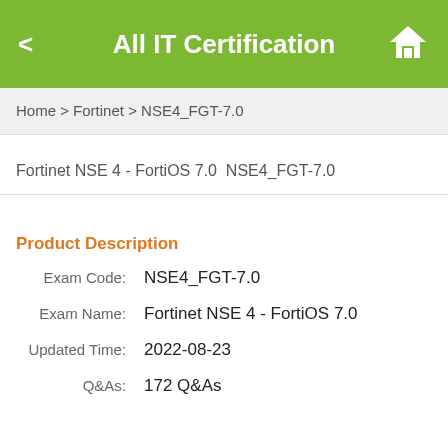All IT Certification
Home > Fortinet > NSE4_FGT-7.0
Fortinet NSE 4 - FortiOS 7.0  NSE4_FGT-7.0
Product Description
Exam Code:   NSE4_FGT-7.0
Exam Name:   Fortinet NSE 4 - FortiOS 7.0
Updated Time:   2022-08-23
Q&As:   172 Q&As